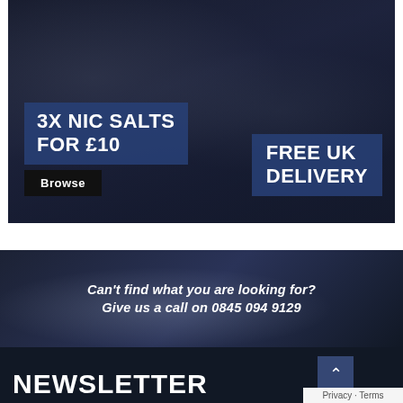[Figure (photo): Dark moody photo of two people vaping/smoking with vapour clouds, dark blue background. Left person wears glasses, right person wears a hoodie.]
3X NIC SALTS FOR £10
Browse
FREE UK DELIVERY
[Figure (photo): Dark blue banner with a person vaping in the background, vapour clouds visible.]
Can't find what you are looking for? Give us a call on 0845 094 9129
NEWSLETTER